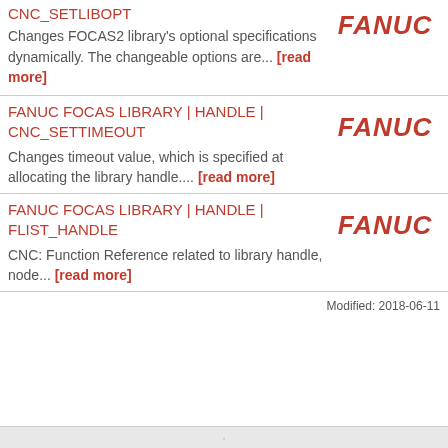CNC_SETLIBOPT
Changes FOCAS2 library's optional specifications dynamically. The changeable options are... [read more]
FANUC FOCAS LIBRARY | HANDLE | CNC_SETTIMEOUT
Changes timeout value, which is specified at allocating the library handle.... [read more]
FANUC FOCAS LIBRARY | HANDLE | FLIST_HANDLE
CNC: Function Reference related to library handle, node... [read more]
Modified: 2018-06-11